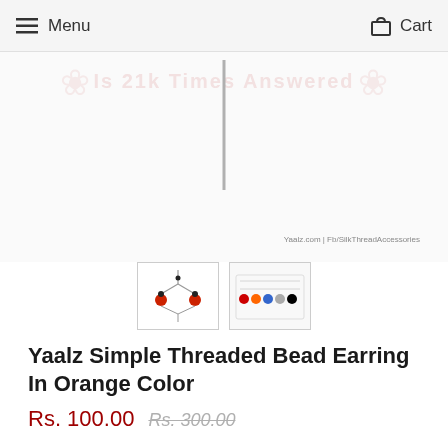Menu  Cart
[Figure (photo): Product image area showing a vertical bar/stand element with watermark text in background. Below are two thumbnail images: one showing earring line drawing, one showing color swatches chart.]
Yaalz Simple Threaded Bead Earring In Orange Color
Rs. 100.00  Rs. 300.00
Color  Size Guide
Orange
Size
Standard